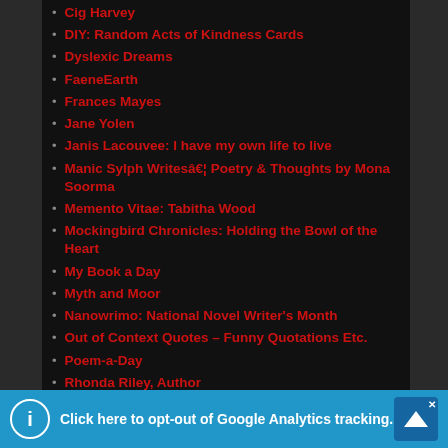Cig Harvey
DIY: Random Acts of Kindness Cards
Dyslexic Dreams
FaeneEarth
Frances Mayes
Jane Yolen
Janis Lacouvee: I have my own life to live
Manic Sylph Writesâ€¦ Poetry & Thoughts by Mona Soorma
Memento Vitae: Tabitha Wood
Mockingbird Chronicles: Holding the Bowl of the Heart
My Book a Day
Myth and Moor
Nanowrimo: National Novel Writer's Month
Out of Context Quotes – Funny Quotations Etc.
Poem-a-Day
Rhonda Riley, Author
Sheila Blanchette | Author
Click here to opt-out of Google Analytics tracking.